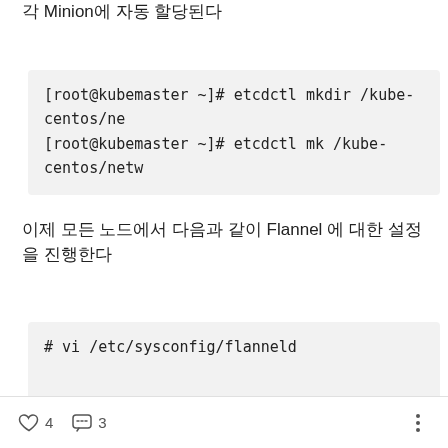각 Minion에 자동 할당된다
[root@kubemaster ~]# etcdctl mkdir /kube-centos/ne
[root@kubemaster ~]# etcdctl mk /kube-centos/netw
이제 모든 노드에서 다음과 같이 Flannel 에 대한 설정을 진행한다
# vi /etc/sysconfig/flanneld
♡ 4   💬 3